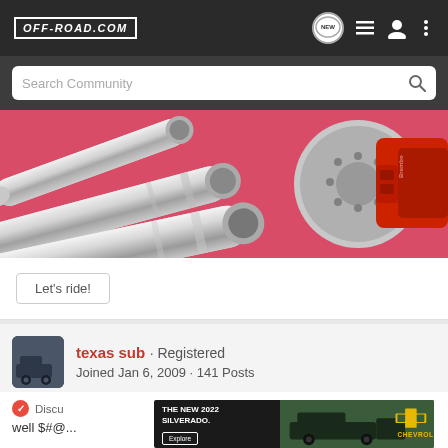OFF-ROAD.COM
Search Community
[Figure (photo): Banner image with chrome exhaust pipes on pink/red background and a red Brembo brake caliper with drilled rotor on the right side]
Let's ride!
texas sub · Registered
Joined Jan 6, 2009 · 141 Posts
Discu... well $#@... guess i'll
[Figure (screenshot): Advertisement overlay: THE NEW 2022 SILVERADO. with Explore button and Chevrolet truck image with Chevrolet logo]